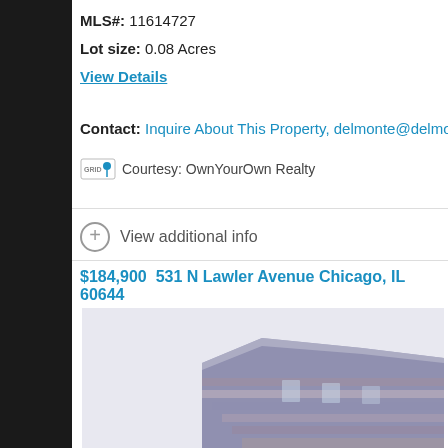MLS#: 11614727
Lot size: 0.08 Acres
View Details
Contact: Inquire About This Property, delmonte@delmontehom...
Courtesy: OwnYourOwn Realty
View additional info
$184,900  531 N Lawler Avenue Chicago, IL 60644
[Figure (photo): Exterior photo of a multi-story brick residential building at 531 N Lawler Avenue Chicago IL 60644, showing upper floors with brick facade and roofline against a light sky.]